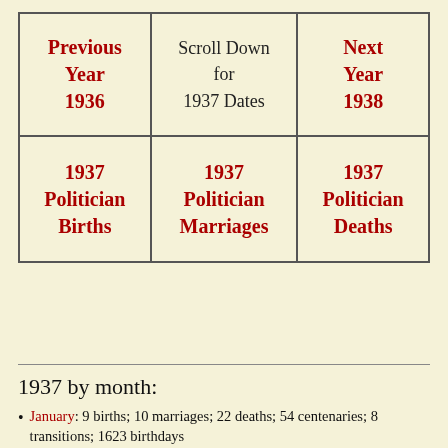| Previous Year
1936 | Scroll Down
for
1937 Dates | Next Year
1938 |
| 1937
Politician
Births | 1937
Politician
Marriages | 1937
Politician
Deaths |
1937 by month:
January: 9 births; 10 marriages; 22 deaths; 54 centenaries; 8 transitions; 1623 birthdays
February: 8 births; 6 marriages; 26 deaths; 39 centenaries; 13 transitions; 1456 birthdays